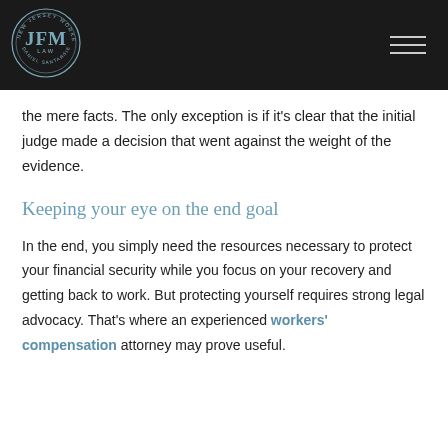[Figure (logo): JFM Law - New Jersey Workers Compensation Lawyer, Daniel Santarsiero - circular logo on dark header bar]
the mere facts. The only exception is if it's clear that the initial judge made a decision that went against the weight of the evidence.
Keeping your eye on the end goal
In the end, you simply need the resources necessary to protect your financial security while you focus on your recovery and getting back to work. But protecting yourself requires strong legal advocacy. That's where an experienced workers' compensation attorney may prove useful.